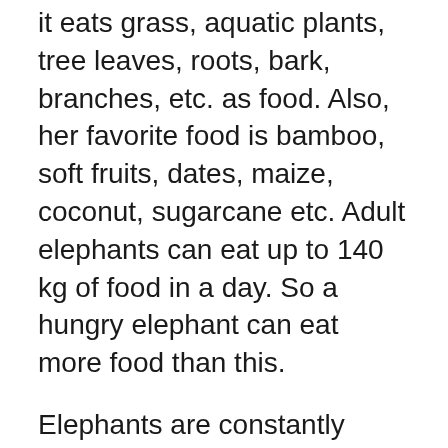As the elephant is a full-fledged animal, it eats grass, aquatic plants, tree leaves, roots, bark, branches, etc. as food. Also, her favorite food is bamboo, soft fruits, dates, maize, coconut, sugarcane etc. Adult elephants can eat up to 140 kg of food in a day. So a hungry elephant can eat more food than this.
Elephants are constantly migrating depending on the availability of food and water. Elephants are a common sight in areas with ample water resources and greenery. Hands can give 140 liters of water a day to homes